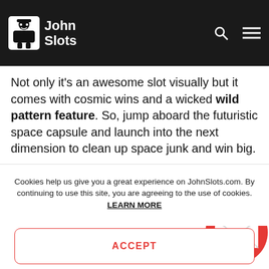John Slots
Not only it's an awesome slot visually but it comes with cosmic wins and a wicked wild pattern feature. So, jump aboard the futuristic space capsule and launch into the next dimension to clean up space junk and win big.
Each time you land a winning spin, the garbage symbols drop and new ones fill in the gaps helping you form a new winning combination. And thanks to those Tetris-style wild patterns, you'll never be
Cookies help us give you a great experience on JohnSlots.com. By continuing to use this site, you are agreeing to the use of cookies. LEARN MORE
ACCEPT